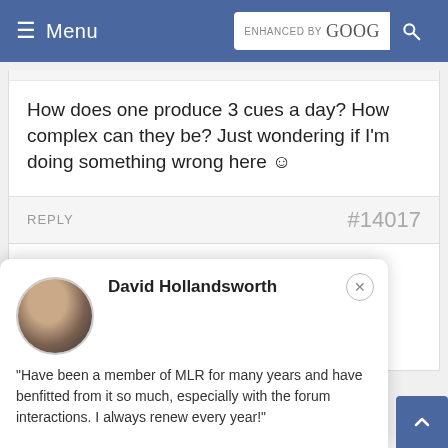Menu | ENHANCED BY Google [search]
How does one produce 3 cues a day? How complex can they be? Just wondering if I'm doing something wrong here ☺
REPLY  #14017
MichaelL
Participant
David Hollandsworth
"Have been a member of MLR for many years and have benfitted from it so much, especially with the forum interactions. I always renew every year!"